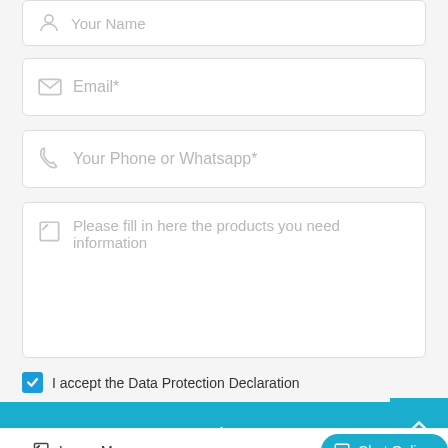[Figure (screenshot): Form field for Your Name (partially visible at top)]
[Figure (screenshot): Form field for Email* with envelope icon]
[Figure (screenshot): Form field for Your Phone or Whatsapp* with phone icon]
[Figure (screenshot): Textarea field with edit icon and placeholder: Please fill in here the products you need information]
I accept the Data Protection Declaration
Send Now
Leave Message
Chat Online